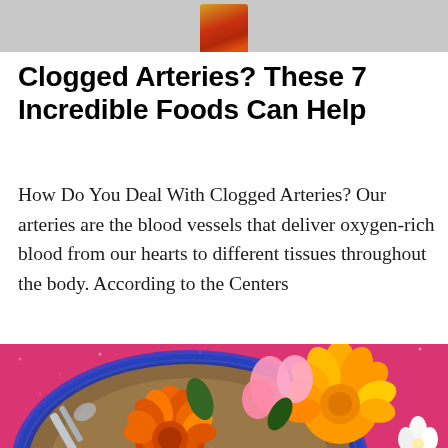[Figure (photo): Small decorative food or ingredient image shown at top center against gray background]
Clogged Arteries? These 7 Incredible Foods Can Help
How Do You Deal With Clogged Arteries? Our arteries are the blood vessels that deliver oxygen-rich blood from our hearts to different tissues throughout the body. According to the Centers
[Figure (photo): Overhead view of a blue decorative plate on pink glitter surface filled with colorful edible flowers including orange marigolds, pink sweet peas, yellow pansies, and other blooms, with a silver fork resting on the plate]